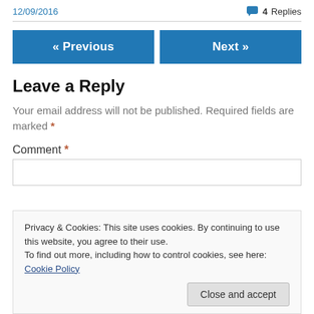12/09/2016  4 Replies
Leave a Reply
Your email address will not be published. Required fields are marked *
Comment *
Privacy & Cookies: This site uses cookies. By continuing to use this website, you agree to their use.
To find out more, including how to control cookies, see here: Cookie Policy
Close and accept